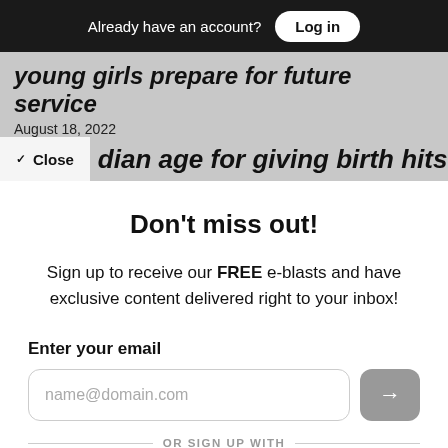Already have an account? Log in
young girls prepare for future service
August 18, 2022
dian age for giving birth hits 30
Don't miss out!
Sign up to receive our FREE e-blasts and have exclusive content delivered right to your inbox!
Enter your email
name@domain.com
OR SIGN UP WITH